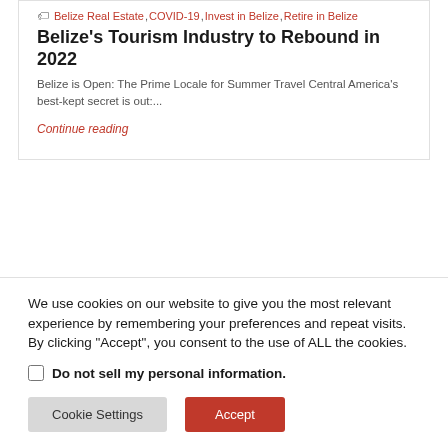[Figure (photo): Stone wall texture image at top of article card]
Belize Real Estate, COVID-19, Invest in Belize, Retire in Belize
Belize's Tourism Industry to Rebound in 2022
Belize is Open: The Prime Locale for Summer Travel Central America's best-kept secret is out:...
Continue reading
We use cookies on our website to give you the most relevant experience by remembering your preferences and repeat visits. By clicking "Accept", you consent to the use of ALL the cookies.
Do not sell my personal information.